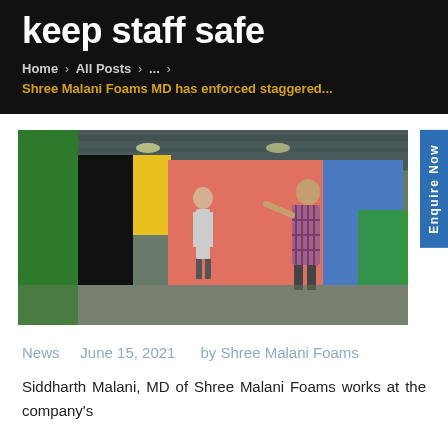keep staff safe
Home > All Posts > ... > Shree Malani Foams MD has enforced staggered...
[Figure (photo): Workers in a foam manufacturing factory with large colorful foam blocks in green, yellow, pink, and blue. Two workers visible in the industrial facility.]
News    June 15, 2021    by Shree Malani Foams
Siddharth Malani, MD of Shree Malani Foams works at the company's